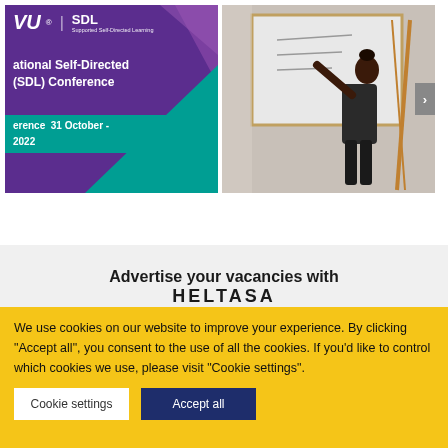[Figure (illustration): Conference promotional card: VU | SDL logo top left, purple and teal geometric background, text 'ational Self-Directed (SDL) Conference' and date 'erence 31 October - 2022']
[Figure (photo): Woman writing on a whiteboard in a classroom or meeting room setting]
Advertise your vacancies with
HELTASA
We use cookies on our website to improve your experience. By clicking "Accept all", you consent to the use of all the cookies. If you'd like to control which cookies we use, please visit "Cookie settings".
Cookie settings
Accept all